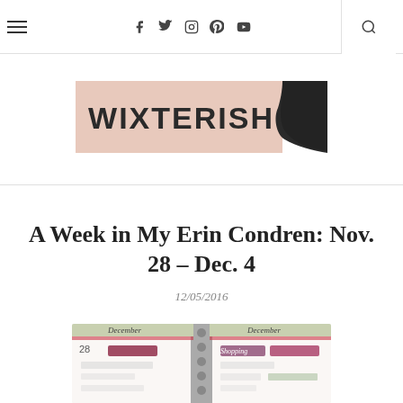Navigation bar with hamburger menu, social icons (f, twitter, instagram, pinterest, youtube), and search
[Figure (logo): Wixterish blog logo — pink/blush horizontal banner with bold black text 'WIXTERISH' and a black paint stroke accent on the right]
A Week in My Erin Condren: Nov. 28 – Dec. 4
12/05/2016
[Figure (photo): Photo of an Erin Condren planner open to the December week of Nov 28 – Dec 4, showing decorative stickers and handwritten entries in a weekly layout]